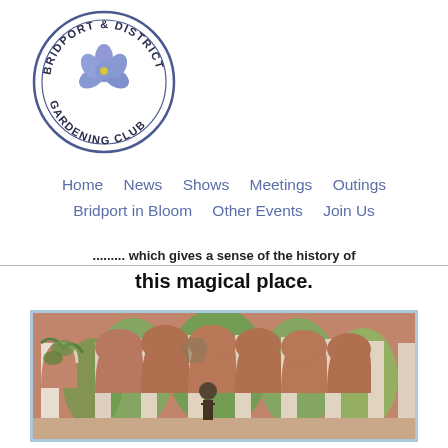[Figure (logo): Bridport & District Gardening Club circular logo with a blue flower (flax/forget-me-not) in the center, text around the circle border]
Home   News   Shows   Meetings   Outings
Bridport in Bloom   Other Events   Join Us
... which gives a sense of the history of this magical place.
[Figure (photo): Photo of a person standing inside a Moorish/Romanesque style arcade with terracotta arched columns, green trees visible through the arches in the background]